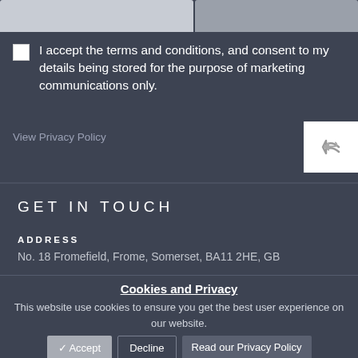[Figure (screenshot): Two partially visible input form fields at the top of the page, one light grey and one medium grey]
I accept the terms and conditions, and consent to my details being stored for the purpose of marketing communications only.
View Privacy Policy
[Figure (other): White back/reply arrow button in top right]
GET IN TOUCH
ADDRESS
No. 18 Fromefield, Frome, Somerset, BA11 2HE, GB
Cookies and Privacy
This website use cookies to ensure you get the best user experience on our website.
✔ Accept
Decline
Read our Privacy Policy